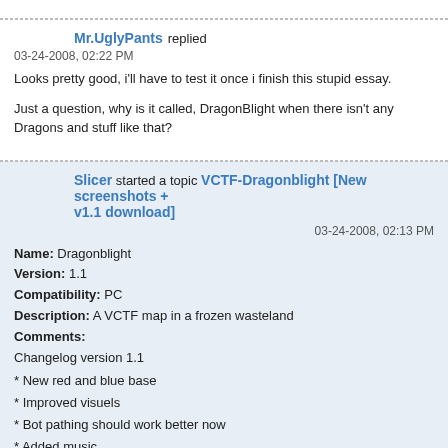Mr.UglyPants replied
03-24-2008, 02:22 PM
Looks pretty good, i'll have to test it once i finish this stupid essay.

Just a question, why is it called, DragonBlight when there isn't any Dragons and stuff like that?
Slicer started a topic VCTF-Dragonblight [New screenshots + v1.1 download]
03-24-2008, 02:13 PM
Name: Dragonblight
Version: 1.1
Compatibility: PC
Description: A VCTF map in a frozen wasteland
Comments:
Changelog version 1.1
* New red and blue base
* Improved visuels
* Bot pathing should work better now
* Added music
* Player support to 32 (recommended 8 to 12)
Screenshot:
[url]http://...